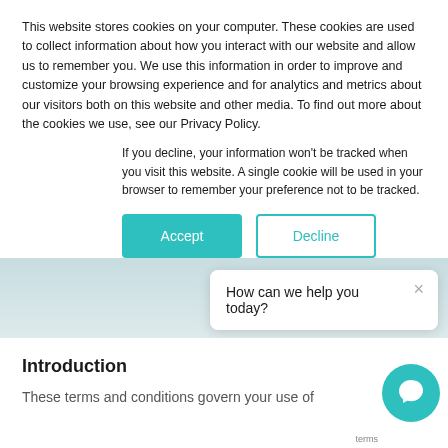This website stores cookies on your computer. These cookies are used to collect information about how you interact with our website and allow us to remember you. We use this information in order to improve and customize your browsing experience and for analytics and metrics about our visitors both on this website and other media. To find out more about the cookies we use, see our Privacy Policy.
If you decline, your information won't be tracked when you visit this website. A single cookie will be used in your browser to remember your preference not to be tracked.
Accept
Decline
How can we help you today?
Introduction
These terms and conditions govern your use of